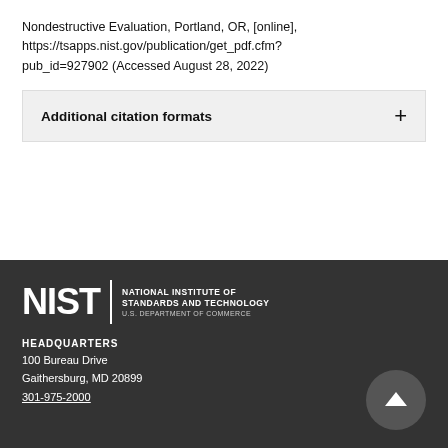Nondestructive Evaluation, Portland, OR, [online], https://tsapps.nist.gov/publication/get_pdf.cfm?pub_id=927902 (Accessed August 28, 2022)
Additional citation formats
Created July 18, 2019, Updated October 6, 2020
NIST — NATIONAL INSTITUTE OF STANDARDS AND TECHNOLOGY U.S. DEPARTMENT OF COMMERCE
HEADQUARTERS
100 Bureau Drive
Gaithersburg, MD 20899
301-975-2000